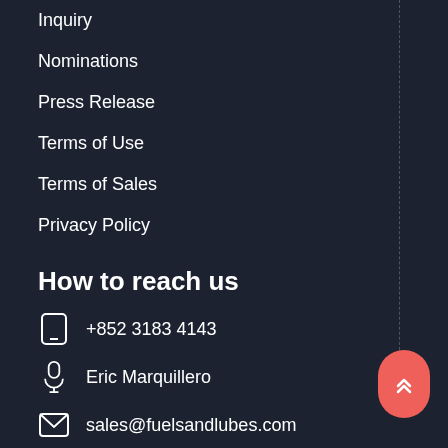Inquiry
Nominations
Press Release
Terms of Use
Terms of Sales
Privacy Policy
How to reach us
+852 3183 4143
Eric Marquillero
sales@fuelsandlubes.com
Twitter